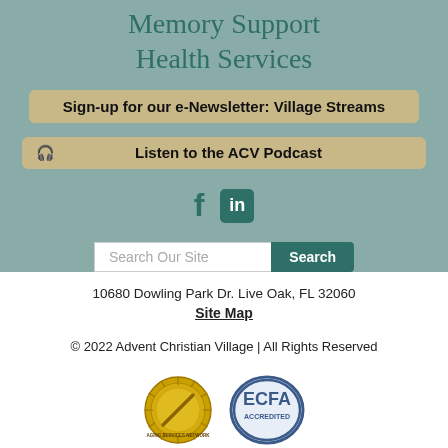Memory Support
Health Services
Sign-up for our e-Newsletter: Village Streams
Listen to the ACV Podcast
[Figure (other): Facebook and LinkedIn social media icons]
Search Our Site [Search button]
10680 Dowling Park Dr. Live Oak, FL 32060
Site Map
© 2022 Advent Christian Village | All Rights Reserved
[Figure (logo): Two accreditation seals: a gold quality seal and the ECFA Accredited seal]